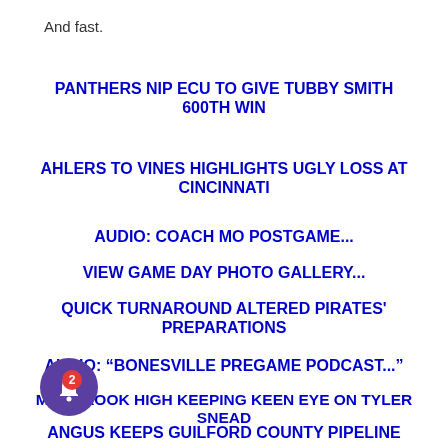And fast.
PANTHERS NIP ECU TO GIVE TUBBY SMITH 600TH WIN
AHLERS TO VINES HIGHLIGHTS UGLY LOSS AT CINCINNATI
AUDIO: COACH MO POSTGAME...
VIEW GAME DAY PHOTO GALLERY...
QUICK TURNAROUND ALTERED PIRATES' PREPARATIONS
AUDIO: “BONESVILLE PREGAME PODCAST...”
MILLBROOK HIGH KEEPING KEEN EYE ON TYLER SNEAD
RDNER PACES PIRATES TO WIN OVER PRAIRIE VIEW
ANGUS KEEPS GUILFORD COUNTY PIPELINE